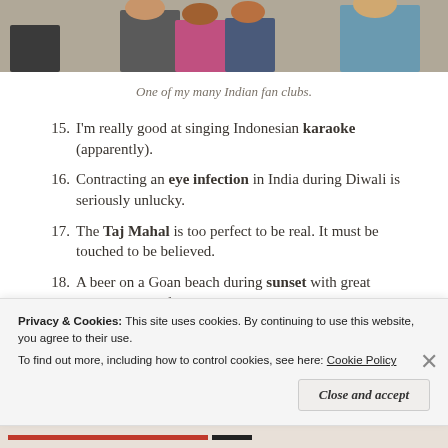[Figure (photo): Partial photo showing a group of people, cropped at the top of the page.]
One of my many Indian fan clubs.
15. I'm really good at singing Indonesian karaoke (apparently).
16. Contracting an eye infection in India during Diwali is seriously unlucky.
17. The Taj Mahal is too perfect to be real. It must be touched to be believed.
18. A beer on a Goan beach during sunset with great company = perfection.
19. The world's rarest and most beautiful donkey is the
Privacy & Cookies: This site uses cookies. By continuing to use this website, you agree to their use. To find out more, including how to control cookies, see here: Cookie Policy
Close and accept